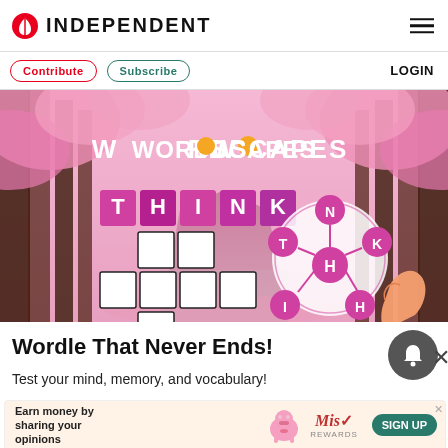INDEPENDENT
Contribute  Subscribe  LOGIN
[Figure (photo): Wordscapes game ad showing cherry blossom tree-lined path with THINK letter tiles and circular letter wheel on pink background]
Wordle That Never Ends!
Test your mind, memory, and vocabulary!
[Figure (infographic): Bottom advertisement: Earn money by sharing your opinions - Miss Rewards SIGN UP]